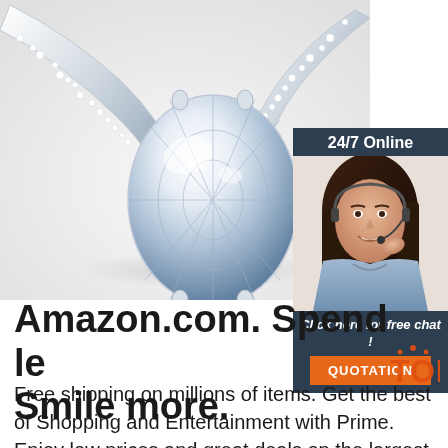[Figure (photo): Close-up photo of a diamond engagement ring with an oval-cut center diamond and pavé-set band on a white background]
[Figure (infographic): Dark blue customer service chat widget showing '24/7 Online' header, a smiling female customer service representative wearing a headset, 'Click here for free chat!' text, and an orange 'QUOTATION' button]
Amazon.com. Spend less. Smile more.
Free shipping on millions of items. Get the best of Shopping and Entertainment with Prime. Enjoy low prices and great deals on the largest selection of everyday essentials and other products, including
[Figure (logo): TOP watermark logo in orange/red with dots]